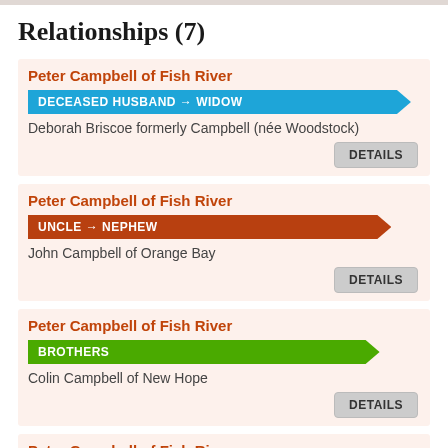Relationships (7)
Peter Campbell of Fish River
DECEASED HUSBAND → WIDOW
Deborah Briscoe formerly Campbell (née Woodstock)
DETAILS
Peter Campbell of Fish River
UNCLE → NEPHEW
John Campbell of Orange Bay
DETAILS
Peter Campbell of Fish River
BROTHERS
Colin Campbell of New Hope
DETAILS
Peter Campbell of Fish River